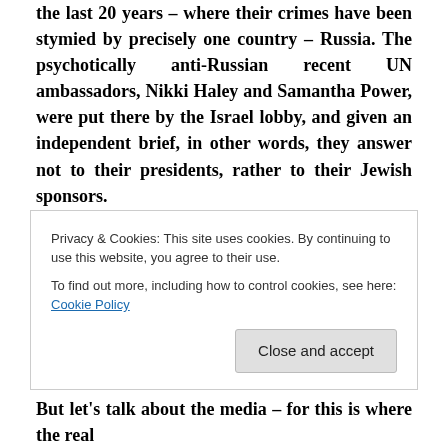the last 20 years – where their crimes have been stymied by precisely one country – Russia. The psychotically anti-Russian recent UN ambassadors, Nikki Haley and Samantha Power, were put there by the Israel lobby, and given an independent brief, in other words, they answer not to their presidents, rather to their Jewish sponsors.
In Congress the biggest Russia-Gate tub-thumpers are noticeably Jewish – Schiff, Schumer, Cardin, Blumenthal, Franken (although not as overwhelmingly
Privacy & Cookies: This site uses cookies. By continuing to use this website, you agree to their use.
To find out more, including how to control cookies, see here: Cookie Policy
But let's talk about the media – for this is where the real